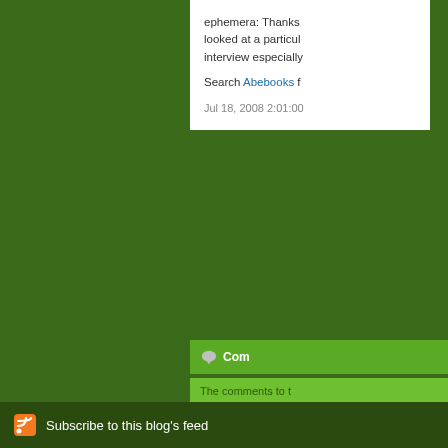ephemera: Thanks looked at a particul interview especially
Search Abebooks f
Jul 18, 2008 2:01:00
Com
The comments to t
P
World's Longest Y
21st anniversary of sale, which feature
Subscribe to this blog's feed